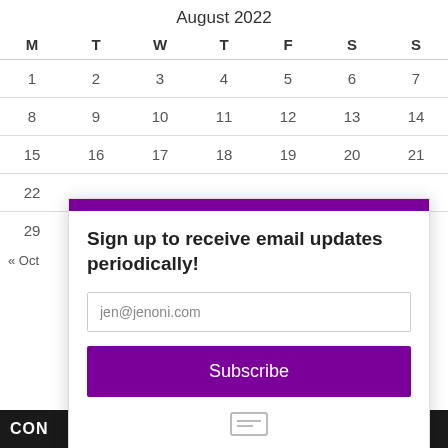August 2022
| M | T | W | T | F | S | S |
| --- | --- | --- | --- | --- | --- | --- |
| 1 | 2 | 3 | 4 | 5 | 6 | 7 |
| 8 | 9 | 10 | 11 | 12 | 13 | 14 |
| 15 | 16 | 17 | 18 | 19 | 20 | 21 |
| 22 |  |  |  |  |  |  |
| 29 |  |  |  |  |  |  |
« Oct
[Figure (screenshot): Email subscription popup with purple header bar, heading 'Sign up to receive email updates periodically!', email input field showing 'jen@jenoni.com', purple Subscribe button, and a small icon at bottom.]
CON